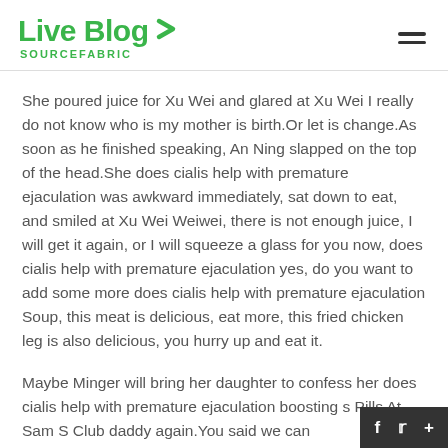Live Blog SOURCEFABRIC
She poured juice for Xu Wei and glared at Xu Wei I really do not know who is my mother is birth.Or let is change.As soon as he finished speaking, An Ning slapped on the top of the head.She does cialis help with premature ejaculation was awkward immediately, sat down to eat, and smiled at Xu Wei Weiwei, there is not enough juice, I will get it again, or I will squeeze a glass for you now, does cialis help with premature ejaculation yes, do you want to add some more does cialis help with premature ejaculation Soup, this meat is delicious, eat more, this fried chicken leg is also delicious, you hurry up and eat it.
Maybe Minger will bring her daughter to confess her does cialis help with premature ejaculation boosting s... Pills At Sam S Club daddy again.You said we can...